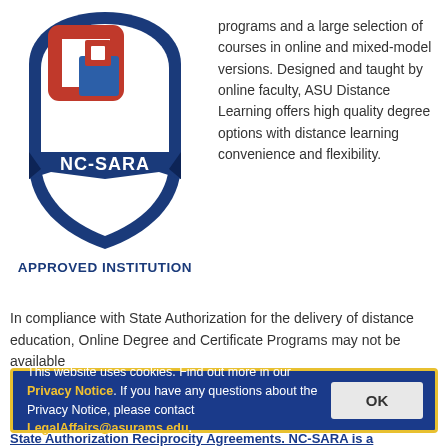[Figure (logo): NC-SARA Approved Institution badge/logo with blue shield and red/blue geometric icon]
APPROVED INSTITUTION
programs and a large selection of courses in online and mixed-model versions. Designed and taught by online faculty, ASU Distance Learning offers high quality degree options with distance learning convenience and flexibility.
In compliance with State Authorization for the delivery of distance education, Online Degree and Certificate Programs may not be available
This website uses cookies. Find out more in our Privacy Notice. If you have any questions about the Privacy Notice, please contact LegalAffairs@asurams.edu.
State Authorization Reciprocity Agreements. NC-SARA is a